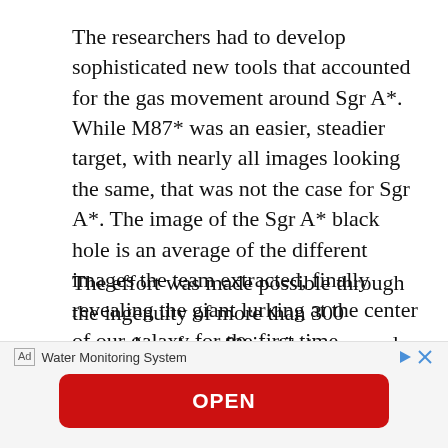The researchers had to develop sophisticated new tools that accounted for the gas movement around Sgr A*. While M87* was an easier, steadier target, with nearly all images looking the same, that was not the case for Sgr A*. The image of the Sgr A* black hole is an average of the different images the team extracted, finally revealing the giant lurking at the center of our galaxy for the first time.
The effort was made possible through the ingenuity of more than 300 researchers from 80 institutes around the world that together make up the EHT Collaboration. In addition to developing
[Figure (other): Advertisement banner: Ad label, 'Water Monitoring System' text, play and close icons, and a red OPEN button.]